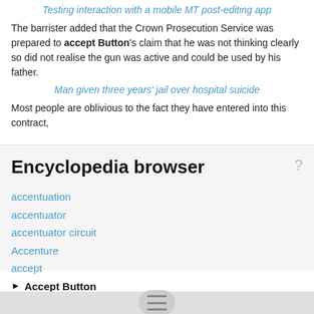Testing interaction with a mobile MT post-editing app
The barrister added that the Crown Prosecution Service was prepared to accept Button's claim that he was not thinking clearly so did not realise the gun was active and could be used by his father.
Man given three years' jail over hospital suicide
Most people are oblivious to the fact they have entered into this contract,
Encyclopedia browser
accentuation
accentuator
accentuator circuit
Accenture
accept
Accept Button
acceptability
acceptable air quality
acceptable alternative product
Acceptable indoor air quality
acceptable quality level